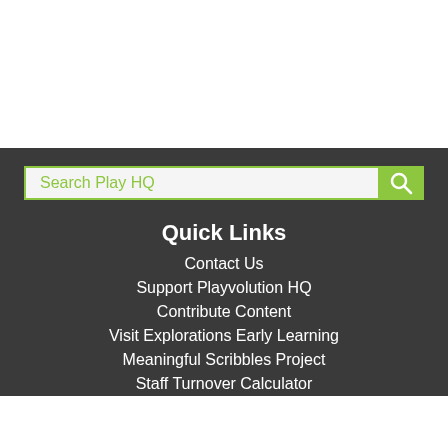[Figure (screenshot): Search bar with placeholder text 'Search Play HQ' and a green search button with magnifying glass icon]
Quick Links
Contact Us
Support Playvolution HQ
Contribute Content
Visit Explorations Early Learning
Meaningful Scribbles Project
Staff Turnover Calculator
[Figure (other): Green share button icon (bottom center)]
[Figure (other): Green circular up/back-to-top arrow button (bottom right)]